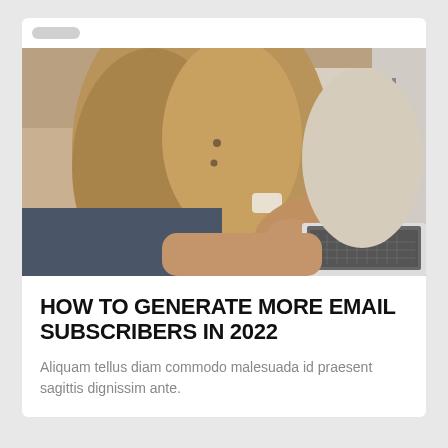[Figure (photo): Person wearing a tan/beige oversized jacket sitting on a couch, typing on a laptop computer. The photo shows the torso and hands of the person, no face visible.]
HOW TO GENERATE MORE EMAIL SUBSCRIBERS IN 2022
Aliquam tellus diam commodo malesuada id praesent sagittis dignissim ante.